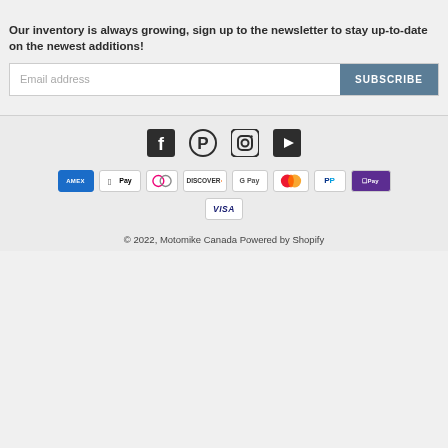Our inventory is always growing, sign up to the newsletter to stay up-to-date on the newest additions!
[Figure (screenshot): Email address input field with SUBSCRIBE button]
[Figure (infographic): Social media icons: Facebook, Pinterest, Instagram, YouTube]
[Figure (infographic): Payment method icons: American Express, Apple Pay, Diners Club, Discover, Google Pay, Mastercard, PayPal, Shop Pay, Visa]
© 2022, Motomike Canada Powered by Shopify